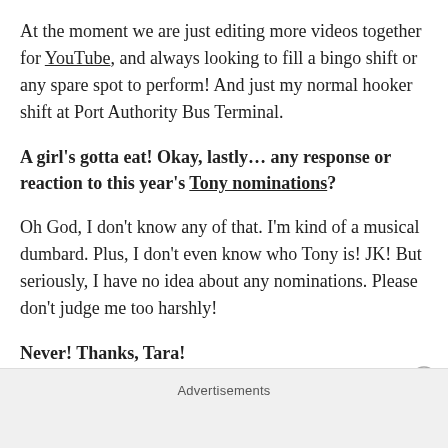At the moment we are just editing more videos together for YouTube, and always looking to fill a bingo shift or any spare spot to perform! And just my normal hooker shift at Port Authority Bus Terminal.
A girl's gotta eat! Okay, lastly… any response or reaction to this year's Tony nominations?
Oh God, I don't know any of that. I'm kind of a musical dumbard. Plus, I don't even know who Tony is! JK! But seriously, I have no idea about any nominations. Please don't judge me too harshly!
Never! Thanks, Tara!
Advertisements